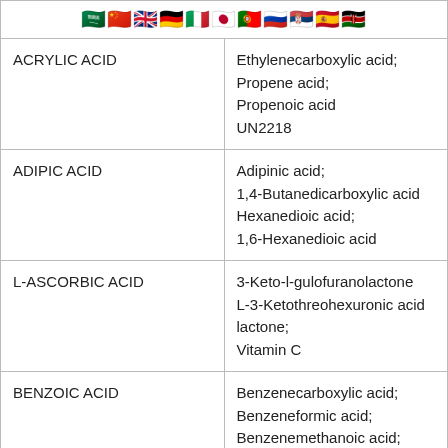[Figure (other): Row of country flag emoji icons: Saudi Arabia, China, UK, Germany, Italy, Japan, Portugal, Russia, Serbia, Spain, Kenya]
| ACRYLIC ACID | Ethylenecarboxylic acid;
Propene acid;
Propenoic acid
UN2218 |
| ADIPIC ACID | Adipinic acid;
1,4-Butanedicarboxylic acid;
Hexanedioic acid;
1,6-Hexanedioic acid |
| L-ASCORBIC ACID | 3-Keto-l-gulofuranolactone
L-3-Ketothreohexuronic acid lactone;
Vitamin C |
| BENZOIC ACID | Benzenecarboxylic acid;
Benzeneformic acid;
Benzenemethanoic acid;
Benzoate; |